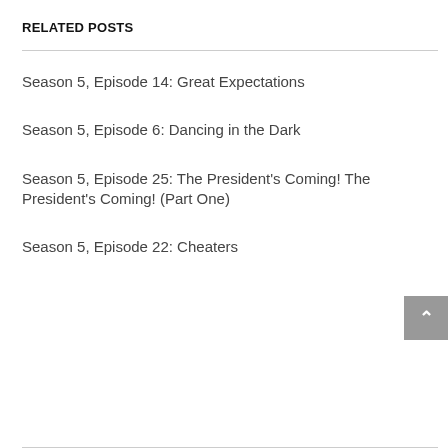RELATED POSTS
Season 5, Episode 14: Great Expectations
Season 5, Episode 6: Dancing in the Dark
Season 5, Episode 25: The President's Coming! The President's Coming! (Part One)
Season 5, Episode 22: Cheaters